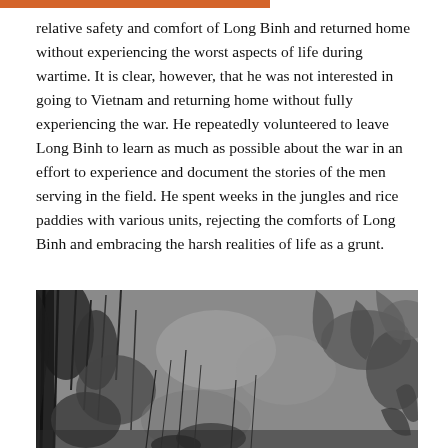relative safety and comfort of Long Binh and returned home without experiencing the worst aspects of life during wartime. It is clear, however, that he was not interested in going to Vietnam and returning home without fully experiencing the war. He repeatedly volunteered to leave Long Binh to learn as much as possible about the war in an effort to experience and document the stories of the men serving in the field. He spent weeks in the jungles and rice paddies with various units, rejecting the comforts of Long Binh and embracing the harsh realities of life as a grunt.
[Figure (photo): Black and white photograph showing dense jungle vegetation including grass, reeds, and leafy plants, with a partial view of a person or figure obscured by the foliage.]